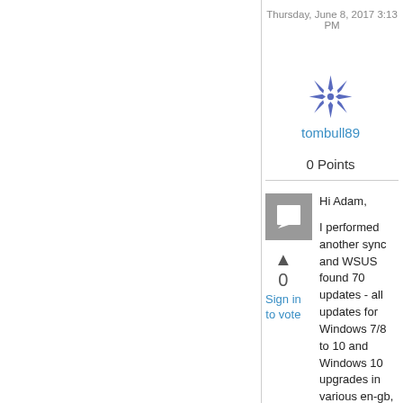Thursday, June 8, 2017 3:13 PM
tombull89   0 Points
[Figure (illustration): Gray square avatar icon with a white speech/chat bubble symbol inside]
▲
0
Sign in to vote
Hi Adam,

I performed another sync and WSUS found 70 updates - all updates for Windows 7/8 to 10 and Windows 10 upgrades in various en-gb, en-us, retail